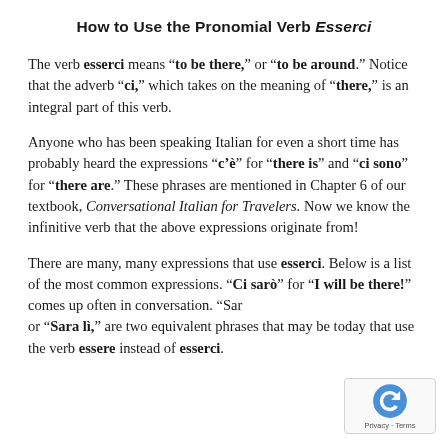How to Use the Pronomial Verb Esserci
The verb esserci means “to be there,” or “to be around.” Notice that the adverb “ci,” which takes on the meaning of “there,” is an integral part of this verb.
Anyone who has been speaking Italian for even a short time has probably heard the expressions “c’è” for “there is” and “ci sono” for “there are.” These phrases are mentioned in Chapter 6 of our textbook, Conversational Italian for Travelers. Now we know the infinitive verb that the above expressions originate from!
There are many, many expressions that use esserci. Below is a list of the most common expressions. “Ci sarò” for “I will be there!” comes up often in conversation. “Sarà lì,” or “Sara lì,” are two equivalent phrases that may be today that use the verb essere instead of esserci.
[Figure (logo): reCAPTCHA logo with privacy and terms text]